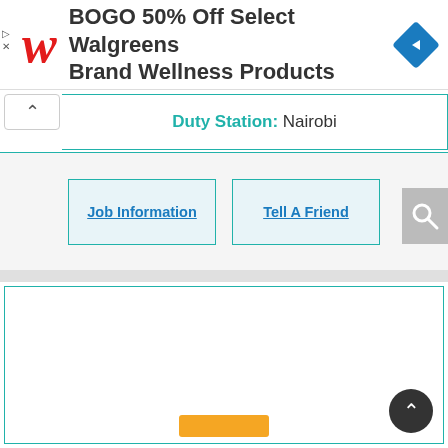[Figure (screenshot): Walgreens ad banner: BOGO 50% Off Select Walgreens Brand Wellness Products, with Walgreens cursive W logo and blue navigation diamond icon]
| Duty Station: Nairobi |
Job Information | Tell A Friend
[Figure (logo): Kenya coat of arms / national emblem showing two lions holding a shield with a rooster on top, standing on a green base with a banner, inside a square border]
[Figure (other): Orange button at bottom of page]